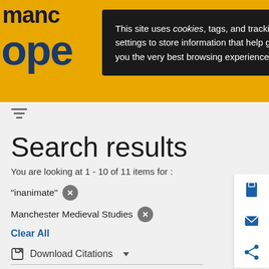manchester open
This site uses cookies, tags, and tracking settings to store information that help give you the very best browsing experience.
Search results
You are looking at 1 - 10 of 11 items for :
"inanimate"
Manchester Medieval Studies
Clear All
Download Citations